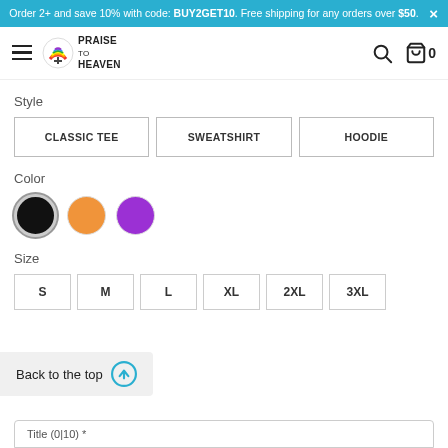Order 2+ and save 10% with code: BUY2GET10. Free shipping for any orders over $50.
[Figure (logo): Praise to Heaven rainbow logo with hamburger menu, search icon, and cart icon showing 0 items]
Style
CLASSIC TEE  SWEATSHIRT  HOODIE
Color
[Figure (other): Three color swatches: black (selected), orange, and purple]
Size
S  M  L  XL  2XL  3XL
Back to the top
Title (0|10) *